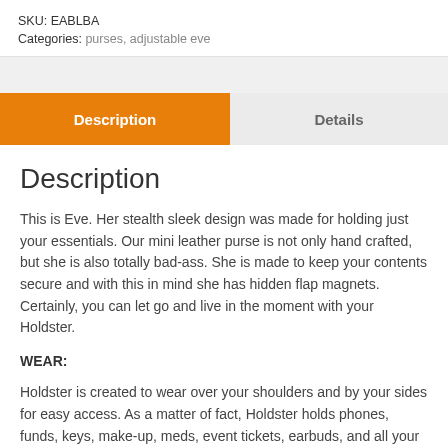SKU: EABLBA
Categories: purses, adjustable eve
Description
Details
Description
This is Eve. Her stealth sleek design was made for holding just your essentials. Our mini leather purse is not only hand crafted, but she is also totally bad-ass. She is made to keep your contents secure and with this in mind she has hidden flap magnets. Certainly, you can let go and live in the moment with your Holdster.
WEAR:
Holdster is created to wear over your shoulders and by your sides for easy access. As a matter of fact, Holdster holds phones, funds, keys, make-up, meds, event tickets, earbuds, and all your on the go essentials. Uniquely, this mini leather